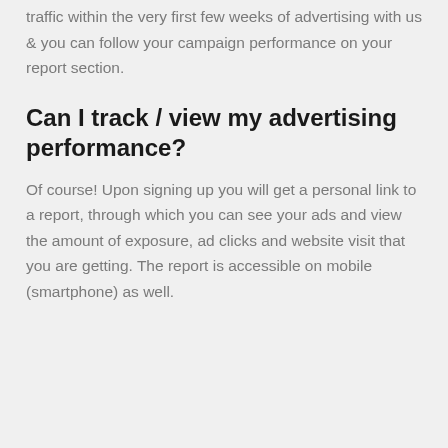traffic within the very first few weeks of advertising with us & you can follow your campaign performance on your report section.
Can I track / view my advertising performance?
Of course! Upon signing up you will get a personal link to a report, through which you can see your ads and view the amount of exposure, ad clicks and website visit that you are getting. The report is accessible on mobile (smartphone) as well.